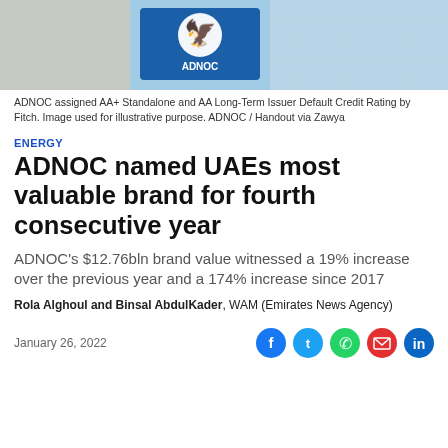[Figure (photo): ADNOC building exterior with blue logo featuring an eagle, glass facade visible in background]
ADNOC assigned AA+ Standalone and AA Long-Term Issuer Default Credit Rating by Fitch. Image used for illustrative purpose. ADNOC / Handout via Zawya
ENERGY
ADNOC named UAEs most valuable brand for fourth consecutive year
ADNOC's $12.76bln brand value witnessed a 19% increase over the previous year and a 174% increase since 2017
Rola Alghoul and Binsal AbdulKader, WAM (Emirates News Agency)
January 26, 2022